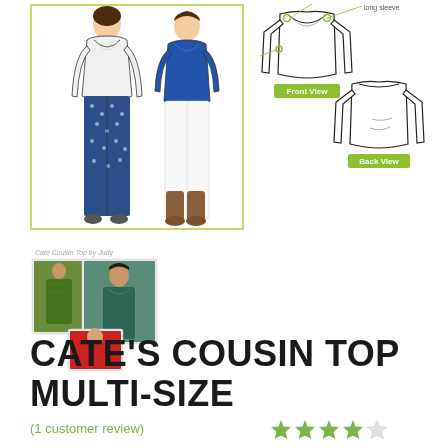[Figure (illustration): Fashion illustration showing two women wearing the Cate's Cousin Top, one in white and one in blue, with patterned/white pants, inside a yellow-green bordered box]
[Figure (illustration): Technical sewing pattern drawings showing front view and back view of the long sleeve top, with green dot callouts and green label buttons for 'Front View' and 'Back View', with 'long sleeve' label]
[Figure (photo): Customer photos collage showing three women wearing Cate's Cousin Top in various fabrics (green patterned, teal, red), with handwritten caption 'Cate's Cousin Top by Judy']
CATE'S COUSIN TOP MULTI-SIZE
(1 customer review)
[Figure (other): 4-star rating graphic showing 4 filled green stars and 1 empty star]